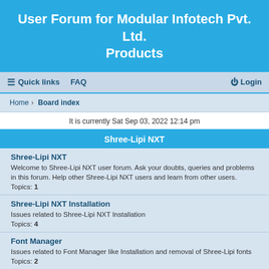User Forum for Modular Infotech Pvt. Ltd. Products
Quick links  FAQ  Login
Home › Board index
It is currently Sat Sep 03, 2022 12:14 pm
Shree-Lipi NXT
Shree-Lipi NXT
Welcome to Shree-Lipi NXT user forum. Ask your doubts, queries and problems in this forum. Help other Shree-Lipi NXT users and learn from other users.
Topics: 1
Shree-Lipi NXT Installation
Issues related to Shree-Lipi NXT Installation
Topics: 4
Font Manager
Issues related to Font Manager like Installation and removal of Shree-Lipi fonts
Topics: 2
Data Conversion
Issues related to converting data from one layout to other layout
Topics: 4
Font Layout Detection
Issues related to Font Layout Detection
This utility helps user to identify System font match to Shree-Lipi font layout
Editor NXT
Issues related to Editor NXT